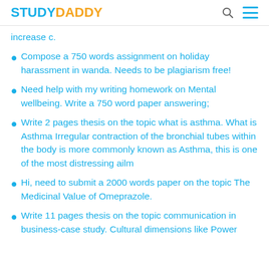STUDYDADDY
increase c.
Compose a 750 words assignment on holiday harassment in wanda. Needs to be plagiarism free!
Need help with my writing homework on Mental wellbeing. Write a 750 word paper answering;
Write 2 pages thesis on the topic what is asthma. What is Asthma Irregular contraction of the bronchial tubes within the body is more commonly known as Asthma, this is one of the most distressing ailm
Hi, need to submit a 2000 words paper on the topic The Medicinal Value of Omeprazole.
Write 11 pages thesis on the topic communication in business-case study. Cultural dimensions like Power